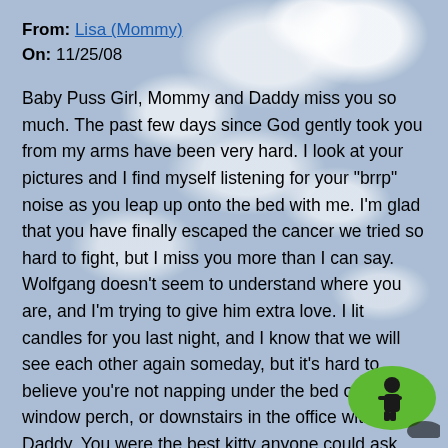From: Lisa (Mommy)
On: 11/25/08
Baby Puss Girl, Mommy and Daddy miss you so much. The past few days since God gently took you from my arms have been very hard. I look at your pictures and I find myself listening for your "brrp" noise as you leap up onto the bed with me. I'm glad that you have finally escaped the cancer we tried so hard to fight, but I miss you more than I can say. Wolfgang doesn't seem to understand where you are, and I'm trying to give him extra love. I lit candles for you last night, and I know that we will see each other again someday, but it's hard to believe you're not napping under the bed or on your window perch, or downstairs in the office with Daddy. You were the best kitty anyone could ask for, and you saved me 15 years ago, just as much as I saved you, if not more. Rest in peace, my sweet Monet. I hope there
[Figure (illustration): Green speech bubble chat icon with black silhouette figure inside, positioned at bottom right corner]